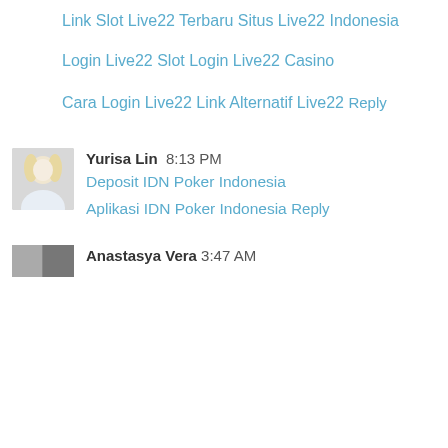Link Slot Live22 Terbaru
Situs Live22 Indonesia
Login Live22 Slot
Login Live22 Casino
Cara Login Live22
Link Alternatif Live22
Reply
Yurisa Lin  8:13 PM
Deposit IDN Poker Indonesia
Aplikasi IDN Poker Indonesia
Reply
Anastasya Vera  3:47 AM